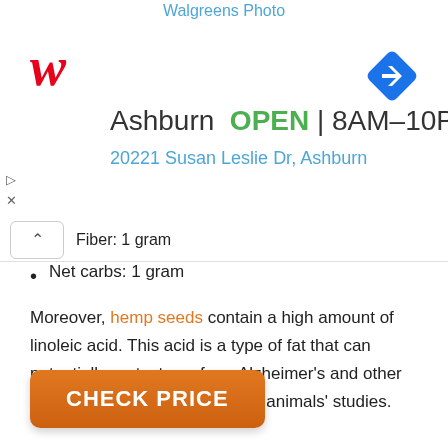[Figure (screenshot): Walgreens ad banner showing Photo heading, Walgreens W logo, Ashburn OPEN 8AM-10PM, address 20221 Susan Leslie Dr, Ashburn, and navigation arrow icon]
Fiber: 1 gram
Net carbs: 1 gram
Moreover, hemp seeds contain a high amount of linoleic acid. This acid is a type of fat that can potentially protect you from Alzheimer's and other neurodegenerative diseases in animals' studies.
[Figure (other): Orange CHECK PRICE button]